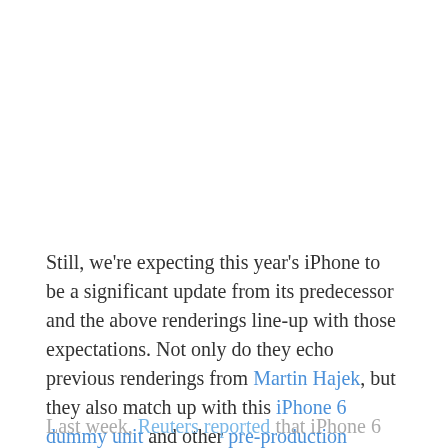Still, we're expecting this year's iPhone to be a significant update from its predecessor and the above renderings line-up with those expectations. Not only do they echo previous renderings from Martin Hajek, but they also match up with this iPhone 6 dummy unit and other pre-production images.
Last week, Reuters reported that iPhone 6 could